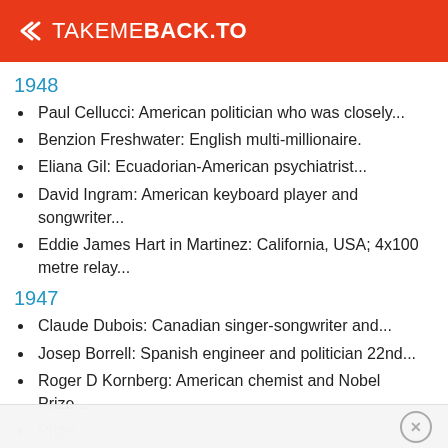TAKEMEBACK.TO
1948
Paul Cellucci: American politician who was closely...
Benzion Freshwater: English multi-millionaire.
Eliana Gil: Ecuadorian-American psychiatrist...
David Ingram: American keyboard player and songwriter...
Eddie James Hart in Martinez: California, USA; 4x100 metre relay...
1947
Claude Dubois: Canadian singer-songwriter and...
Josep Borrell: Spanish engineer and politician 22nd...
Roger D Kornberg: American chemist and Nobel Prize...
Bernadette Devlin: Politician.